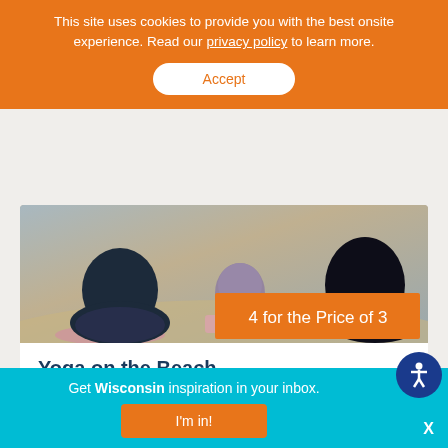This site uses cookies to provide you with the best onsite experience. Read our privacy policy to learn more.
Accept
[Figure (photo): Yoga on the beach photo showing people seated on yoga mats viewed from behind, with an orange promo overlay reading '4 for the Price of 3']
Yoga on the Beach
Cedaroma Lodge
St. Germain
Get Wisconsin inspiration in your inbox.
I'm in!